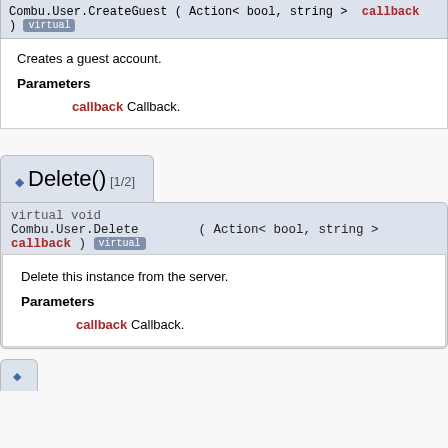Combu.User.CreateGuest ( Action< bool, string > callback ) virtual
Creates a guest account.
Parameters
callback Callback.
◆ Delete() [1/2]
virtual void
Combu.User.Delete ( Action< bool, string > callback ) virtual
Delete this instance from the server.
Parameters
callback Callback.